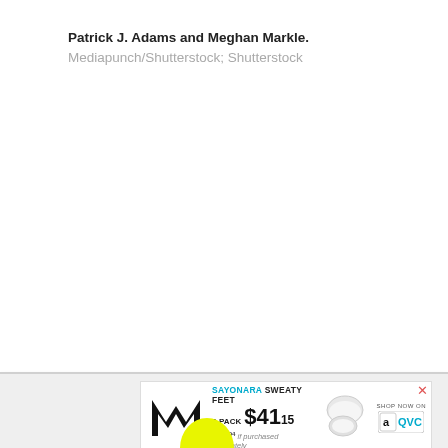Patrick J. Adams and Meghan Markle. Mediapunch/Shutterstock; Shutterstock
[Figure (infographic): Advertisement banner for MISSION brand socks. Shows MISSION logo (M), tagline 'SAYONARA SWEATY FEET', '6-PACK $41.15', '$119.94 if purchased separately', image of white socks, QVC shop now logo. Yellow circle element at bottom. Close (X) button in top right.]